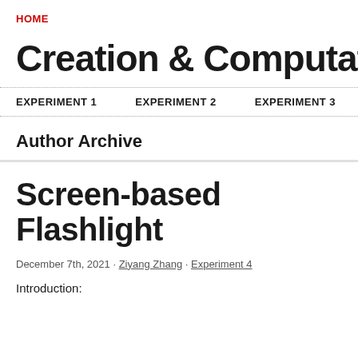HOME
Creation & Computation 202
EXPERIMENT 1 · EXPERIMENT 2 · EXPERIMENT 3 · EXPERIMENT 4
Author Archive
Screen-based Flashlight
December 7th, 2021 · Ziyang Zhang · Experiment 4
Introduction: